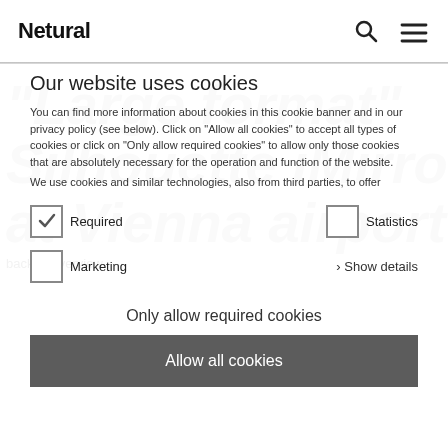Netural
Our website uses cookies
You can find more information about cookies in this cookie banner and in our privacy policy (see below). Click on "Allow all cookies" to accept all types of cookies or click on "Only allow required cookies" to allow only those cookies that are absolutely necessary for the operation and function of the website.
We use cookies and similar technologies, also from third parties, to offer
Required
Statistics
Marketing
Show details
Only allow required cookies
back to overview
Allow all cookies